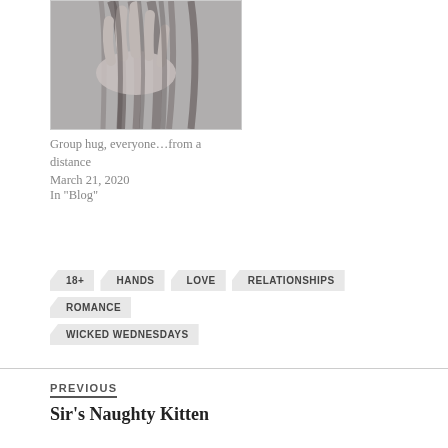[Figure (photo): Black and white close-up photo of a hand grasping long hair]
Group hug, everyone…from a distance
March 21, 2020
In "Blog"
18+
HANDS
LOVE
RELATIONSHIPS
ROMANCE
WICKED WEDNESDAYS
PREVIOUS
Sir's Naughty Kitten